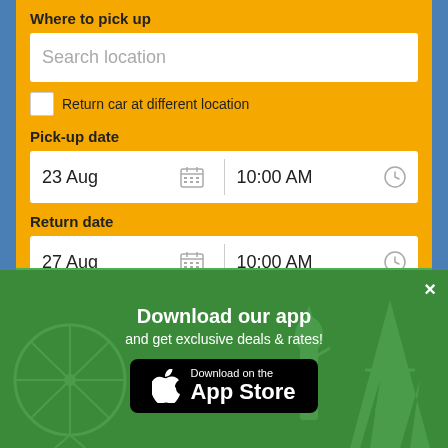Where to pick up
Search location
Return car at different location
Pick-up date
23 Aug   10:00 AM
Return date
27 Aug   10:00 AM
Search
Download our app
and get exclusive deals & rates!
[Figure (screenshot): App Store download button with Apple logo]